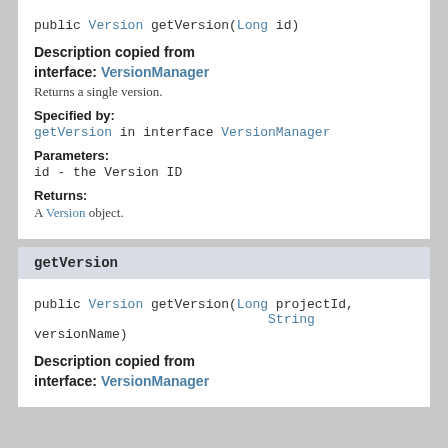public Version getVersion(Long id)
Description copied from interface: VersionManager
Returns a single version.
Specified by:
getVersion in interface VersionManager
Parameters:
id - the Version ID
Returns:
A Version object.
getVersion
public Version getVersion(Long projectId, String versionName)
Description copied from interface: VersionManager